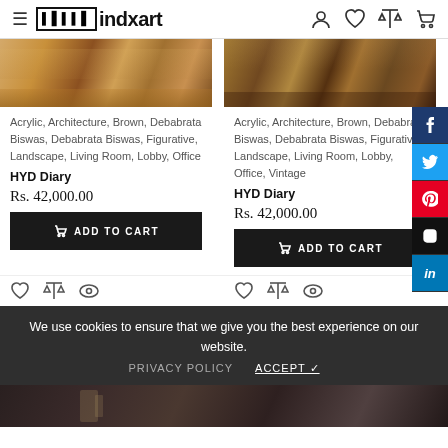indxart — navigation header with hamburger menu, logo, user icon, wishlist icon, compare icon, cart icon
[Figure (photo): Left product: landscape/architectural painting in brown and golden tones]
[Figure (photo): Right product: landscape painting with figures and trees in brown sepia tones]
Acrylic, Architecture, Brown, Debabrata Biswas, Debabrata Biswas, Figurative, Landscape, Living Room, Lobby, Office
Acrylic, Architecture, Brown, Debabrata Biswas, Debabrata Biswas, Figurative, Landscape, Living Room, Lobby, Office, Vintage
HYD Diary
HYD Diary
Rs. 42,000.00
Rs. 42,000.00
ADD TO CART
ADD TO CART
We use cookies to ensure that we give you the best experience on our website.
PRIVACY POLICY    ACCEPT ✓